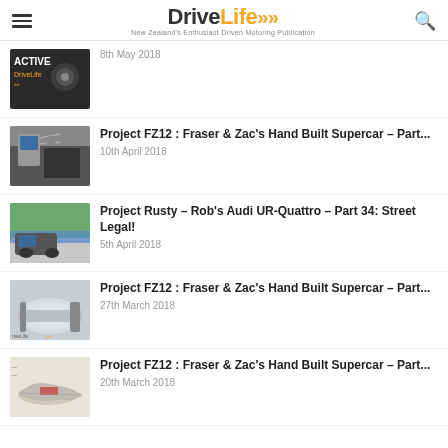DriveLife - New Zealand's Enthusiast Driven Motoring Publication
8th May 2018
Project FZ12 : Fraser & Zac's Hand Built Supercar – Part... | 10th April 2018
Project Rusty – Rob's Audi UR-Quattro – Part 34: Street Legal! | 5th April 2018
Project FZ12 : Fraser & Zac's Hand Built Supercar – Part... | 27th March 2018
Project FZ12 : Fraser & Zac's Hand Built Supercar – Part... | 20th March 2018